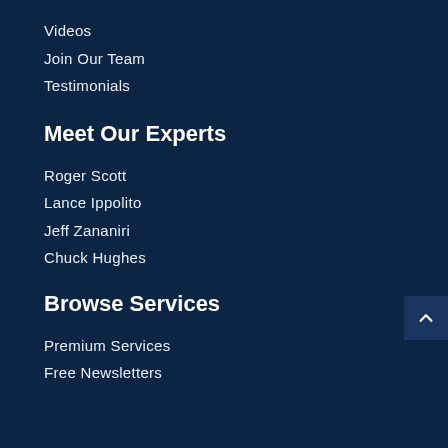Videos
Join Our Team
Testimonials
Meet Our Experts
Roger Scott
Lance Ippolito
Jeff Zananiri
Chuck Hughes
Browse Services
Premium Services
Free Newsletters